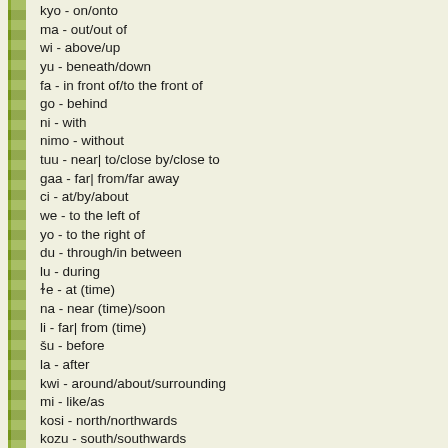kyo - on/onto
ma - out/out of
wi - above/up
yu - beneath/down
fa - in front of/to the front of
go - behind
ni - with
nimo - without
tuu - near| to/close by/close to
gaa - far| from/far away
ci - at/by/about
we - to the left of
yo - to the right of
du - through/in between
lu - during
ɫe - at (time)
na - near (time)/soon
li - far| from (time)
šu - before
la - after
kwi - around/about/surrounding
mi - like/as
kosi - north/northwards
kozu - south/southwards
kowe - west/westwards
koyo - east/eastwards
kwa - seperate/apart
yau - to the side of/beside
jo - across/from| between/on the other side of
gɫoi - over/on top of
kreu - underneath/on the underside of
kidu - along/along the side of
lik...